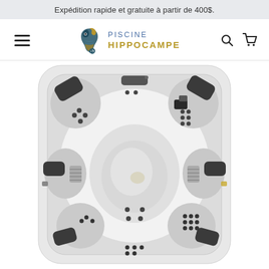Expédition rapide et gratuite à partir de 400$.
[Figure (logo): Piscine Hippocampe logo — stylized seahorse in teal/dark blue and gold, with text PISCINE HIPPOCAMPE]
[Figure (photo): Top-down view of a white hot tub/spa with dark grey headrests and jets, multiple seats visible from above]